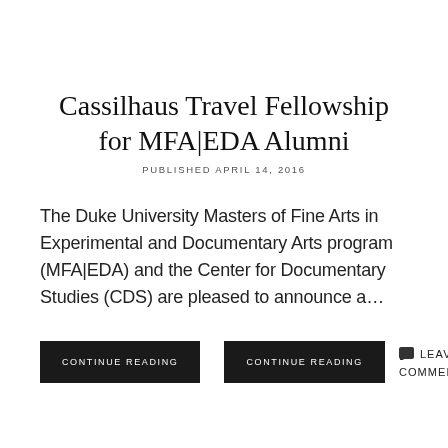Cassilhaus Travel Fellowship for MFA|EDA Alumni
PUBLISHED APRIL 14, 2016
The Duke University Masters of Fine Arts in Experimental and Documentary Arts program (MFA|EDA) and the Center for Documentary Studies (CDS) are pleased to announce a…
CONTINUE READING
CONTINUE READING
LEAVE A COMMENT